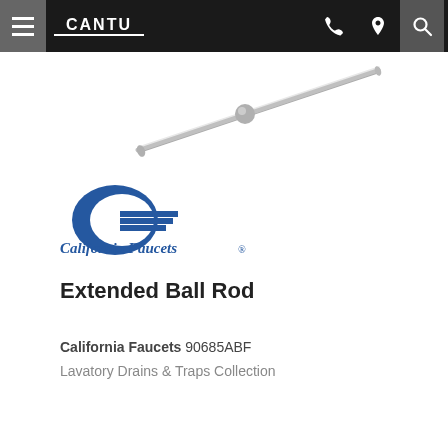CANTU
[Figure (photo): Product photo of an Extended Ball Rod — a thin metal rod with a small spherical bead, shown at an angle against white background]
[Figure (logo): California Faucets logo — blue stylized C with horizontal lines and 'California Faucets' italic text in blue]
Extended Ball Rod
California Faucets 90685ABF
Lavatory Drains & Traps Collection
See Details